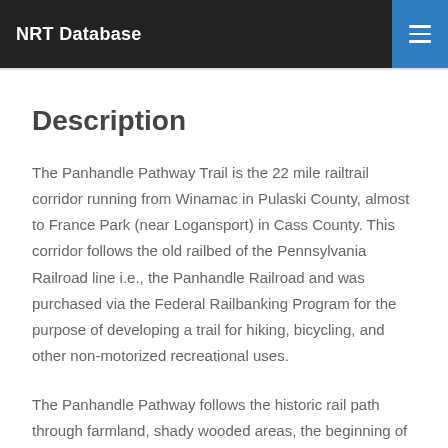NRT Database
Description
The Panhandle Pathway Trail is the 22 mile railtrail corridor running from Winamac in Pulaski County, almost to France Park (near Logansport) in Cass County. This corridor follows the old railbed of the Pennsylvania Railroad line i.e., the Panhandle Railroad and was purchased via the Federal Railbanking Program for the purpose of developing a trail for hiking, bicycling, and other non-motorized recreational uses.
The Panhandle Pathway follows the historic rail path through farmland, shady wooded areas, the beginning of